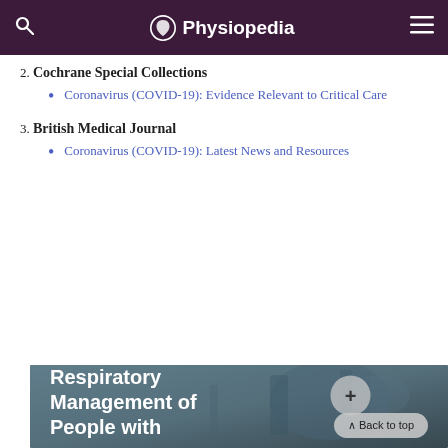Physiopedia
2. Cochrane Special Collections
Coronavirus (COVID-19): Evidence Relevant to Critical Care
3. British Medical Journal
Coronavirus (COVID-19): Latest News and Resources
[Figure (photo): Hospital ICU/critical care setting with medical equipment, showing overlay text 'Respiratory Management of People with']